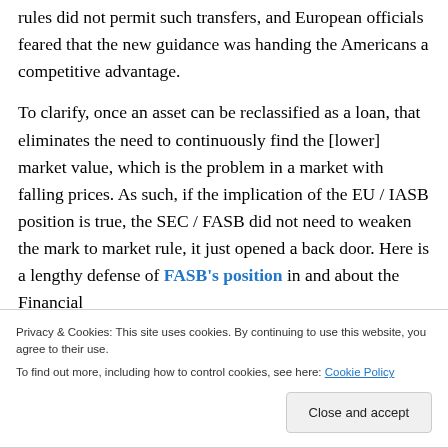rules did not permit such transfers, and European officials feared that the new guidance was handing the Americans a competitive advantage.
To clarify, once an asset can be reclassified as a loan, that eliminates the need to continuously find the [lower] market value, which is the problem in a market with falling prices. As such, if the implication of the EU / IASB position is true, the SEC / FASB did not need to weaken the mark to market rule, it just opened a back door. Here is a lengthy defense of FASB's position in and about the Financial
Privacy & Cookies: This site uses cookies. By continuing to use this website, you agree to their use.
To find out more, including how to control cookies, see here: Cookie Policy